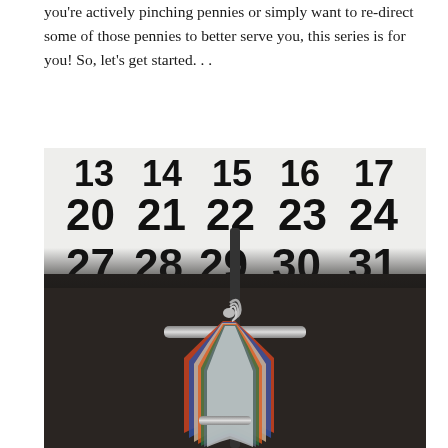you're actively pinching pennies or simply want to re-direct some of those pennies to better serve you, this series is for you! So, let's get started…
[Figure (photo): A clothing rack with multiple wooden hangers holding colorful shirts (orange, blue, green, grey, white) in front of a large calendar showing dates 20-31 area.]